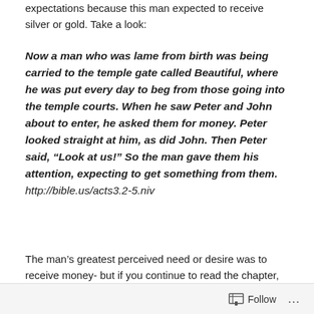expectations because this man expected to receive silver or gold. Take a look:
Now a man who was lame from birth was being carried to the temple gate called Beautiful, where he was put every day to beg from those going into the temple courts. When he saw Peter and John about to enter, he asked them for money. Peter looked straight at him, as did John. Then Peter said, “Look at us!” So the man gave them his attention, expecting to get something from them.   http://bible.us/acts3.2-5.niv
The man’s greatest perceived need or desire was to receive money- but if you continue to read the chapter, God had great plans.  The lame man was healed through the power of the Holy Spirit-even though he never asked
Follow